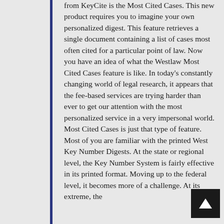from KeyCite is the Most Cited Cases. This new product requires you to imagine your own personalized digest. This feature retrieves a single document containing a list of cases most often cited for a particular point of law. Now you have an idea of what the Westlaw Most Cited Cases feature is like. In today's constantly changing world of legal research, it appears that the fee-based services are trying harder than ever to get our attention with the most personalized service in a very impersonal world. Most Cited Cases is just that type of feature. Most of you are familiar with the printed West Key Number Digests. At the state or regional level, the Key Number System is fairly effective in its printed format. Moving up to the federal level, it becomes more of a challenge. At its extreme, the